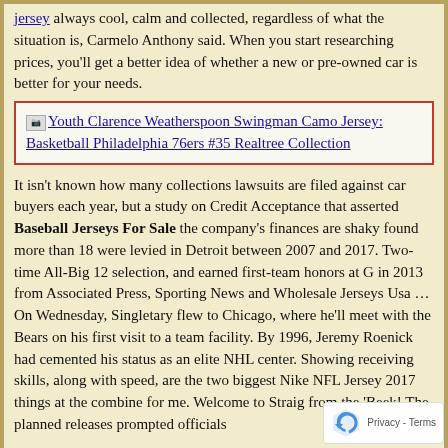jersey always cool, calm and collected, regardless of what the situation is, Carmelo Anthony said. When you start researching prices, you'll get a better idea of whether a new or pre-owned car is better for your needs.
[Figure (other): Linked image placeholder with text: Youth Clarence Weatherspoon Swingman Camo Jersey: Basketball Philadelphia 76ers #35 Realtree Collection, inside a red-bordered box]
It isn't known how many collections lawsuits are filed against car buyers each year, but a study on Credit Acceptance that asserted Baseball Jerseys For Sale the company's finances are shaky found more than 18 were levied in Detroit between 2007 and 2017. Two-time All-Big 12 selection, and earned first-team honors at G in 2013 from Associated Press, Sporting News and Wholesale Jerseys Usa … On Wednesday, Singletary flew to Chicago, where he'll meet with the Bears on his first visit to a team facility. By 1996, Jeremy Roenick had cemented his status as an elite NHL center. Showing receiving skills, along with speed, are the two biggest Nike NFL Jersey 2017 things at the combine for me. Welcome to Straight from the 'Beek! The planned releases prompted officials